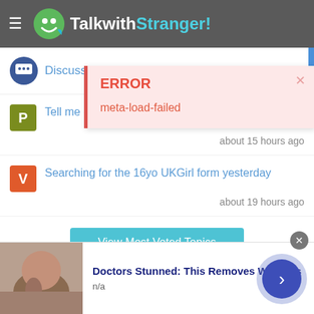TalkwithStranger!
Discuss Anyth...
ERROR
meta-load-failed
Tell me one-liner interesting facts...
about 15 hours ago
Searching for the 16yo UKGirl form yesterday
about 19 hours ago
View Most Voted Topics
Doctors Stunned: This Removes Wrinkles
n/a